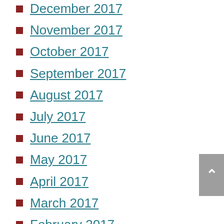December 2017
November 2017
October 2017
September 2017
August 2017
July 2017
June 2017
May 2017
April 2017
March 2017
February 2017
January 2017
December 2016